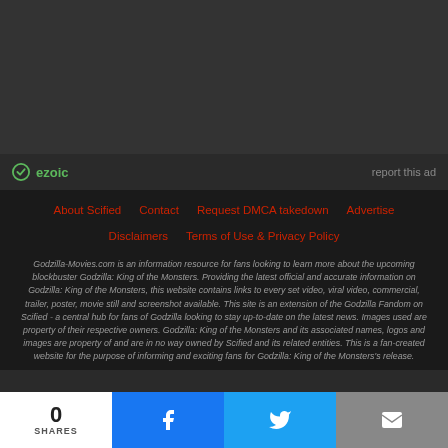[Figure (other): Advertisement area (dark background, ezoic ad placeholder) with ezoic logo and 'report this ad' link at bottom]
About Scified
Contact
Request DMCA takedown
Advertise
Disclaimers
Terms of Use & Privacy Policy
Godzilla-Movies.com is an information resource for fans looking to learn more about the upcoming blockbuster Godzilla: King of the Monsters. Providing the latest official and accurate information on Godzilla: King of the Monsters, this website contains links to every set video, viral video, commercial, trailer, poster, movie still and screenshot available. This site is an extension of the Godzilla Fandom on Scified - a central hub for fans of Godzilla looking to stay up-to-date on the latest news. Images used are property of their respective owners. Godzilla: King of the Monsters and its associated names, logos and images are property of and are in no way owned by Scified and its related entities. This is a fan-created website for the purpose of informing and exciting fans for Godzilla: King of the Monsters's release.
0 SHARES